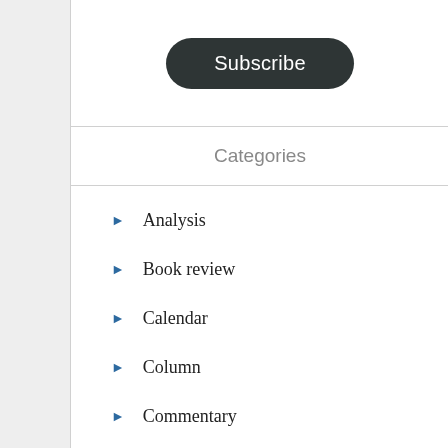[Figure (other): Dark rounded pill-shaped Subscribe button with white text]
Categories
Analysis
Book review
Calendar
Column
Commentary
Coronavirus